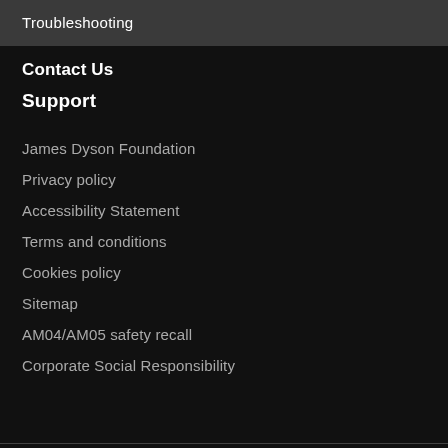Troubleshooting
Contact Us
Support
James Dyson Foundation
Privacy policy
Accessibility Statement
Terms and conditions
Cookies policy
Sitemap
AM04/AM05 safety recall
Corporate Social Responsibility